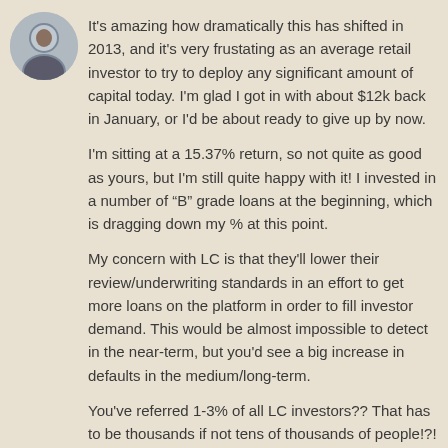[Figure (photo): User avatar photo, circular crop, man in dark shirt]
It's amazing how dramatically this has shifted in 2013, and it's very frustating as an average retail investor to try to deploy any significant amount of capital today. I'm glad I got in with about $12k back in January, or I'd be about ready to give up by now.
I'm sitting at a 15.37% return, so not quite as good as yours, but I'm still quite happy with it! I invested in a number of "B" grade loans at the beginning, which is dragging down my % at this point.
My concern with LC is that they'll lower their review/underwriting standards in an effort to get more loans on the platform in order to fill investor demand. This would be almost impossible to detect in the near-term, but you'd see a big increase in defaults in the medium/long-term.
You've referred 1-3% of all LC investors?? That has to be thousands if not tens of thousands of people!?! That's amazingly impressive!
Reply
[Figure (photo): Mr. Money Mustache avatar photo, circular crop]
Mr. Money Mustache
August 27, 2013